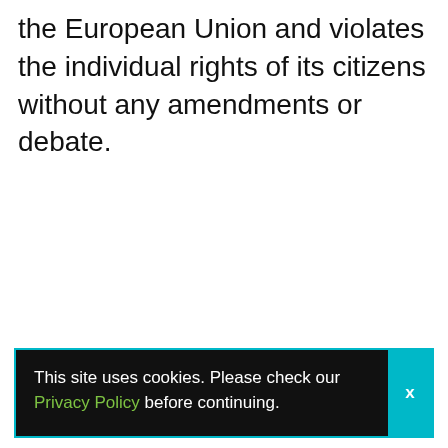the European Union and violates the individual rights of its citizens without any amendments or debate.
This site uses cookies. Please check our Privacy Policy before continuing.